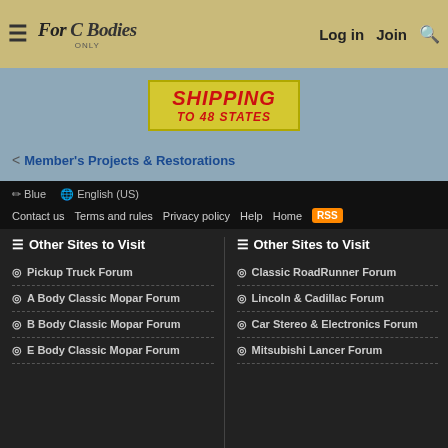For C Bodies Only - Log in / Join
[Figure (other): Shipping to 48 States banner advertisement]
< Member's Projects & Restorations
Blue | English (US) | Contact us | Terms and rules | Privacy policy | Help | Home | RSS
Other Sites to Visit
Pickup Truck Forum
A Body Classic Mopar Forum
B Body Classic Mopar Forum
E Body Classic Mopar Forum
Other Sites to Visit
Classic RoadRunner Forum
Lincoln & Cadillac Forum
Car Stereo & Electronics Forum
Mitsubishi Lancer Forum